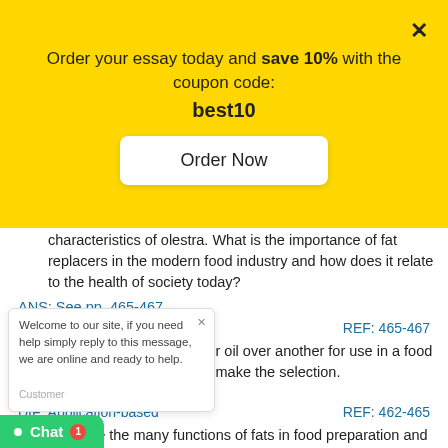Order your essay today and save 10% with the coupon code: best10
Order Now
characteristics of olestra. What is the importance of fat replacers in the modern food industry and how does it relate to the health of society today?
ANS: See pp. 465-467.
DIF: Application-based                        REF: 465-467
1. Why would I select one fat or oil over another for use in a food product? Explain how I should make the selection.
ANS: See p. 465.
DIF: Application-based                        REF: 462-465
2. Describe the many functions of fats in food preparation and give several examples for each one.
ANS: See pp. 454-458.